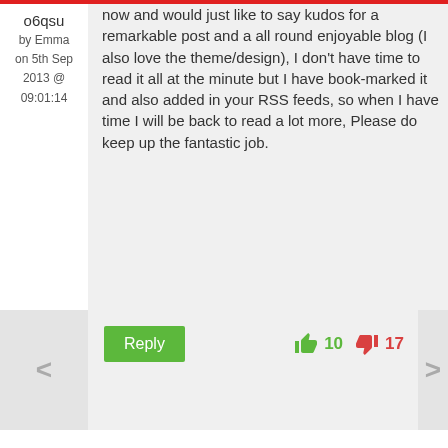о6qsu
by Emma
on 5th Sep 2013 @ 09:01:14
now and would just like to say kudos for a remarkable post and a all round enjoyable blog (I also love the theme/design), I don't have time to read it all at the minute but I have book-marked it and also added in your RSS feeds, so when I have time I will be back to read a lot more, Please do keep up the fantastic job.
Reply
10
17
Add A Comment
Please note:
Your Name *
Your Email *